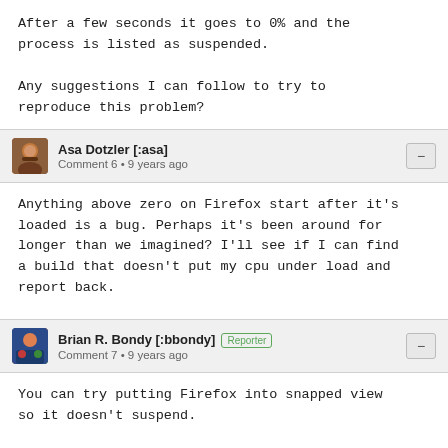After a few seconds it goes to 0% and the process is listed as suspended.

Any suggestions I can follow to try to reproduce this problem?
Asa Dotzler [:asa] Comment 6 • 9 years ago
Anything above zero on Firefox start after it's loaded is a bug. Perhaps it's been around for longer than we imagined? I'll see if I can find a build that doesn't put my cpu under load and report back.
Brian R. Bondy [:bbondy] Reporter Comment 7 • 9 years ago
You can try putting Firefox into snapped view so it doesn't suspend.